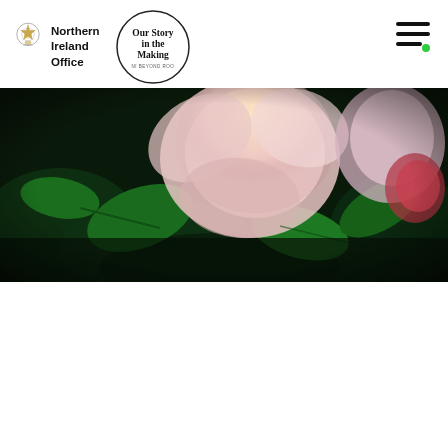[Figure (logo): Northern Ireland Office crest and text logo with 'Our Story in the Making' circular logo]
[Figure (photo): Close-up photograph of pink and white flowers (roses/wild roses) against dark green foliage background with dramatic lighting]
SHARE THIS EVENT
[Figure (infographic): Three green circular social media icons: LinkedIn, Facebook, Twitter]